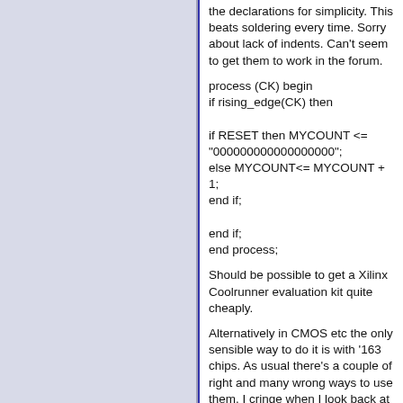the declarations for simplicity. This beats soldering every time. Sorry about lack of indents. Can't seem to get them to work in the forum.
process (CK) begin
if rising_edge(CK) then

if RESET then MYCOUNT <= "000000000000000000";
else MYCOUNT<= MYCOUNT + 1;
end if;

end if;
end process;
Should be possible to get a Xilinx Coolrunner evaluation kit quite cheaply.
Alternatively in CMOS etc the only sensible way to do it is with '163 chips. As usual there's a couple of right and many wrong ways to use them. I cringe when I look back at some of my early digital logic design attempts, relying on accurately matched